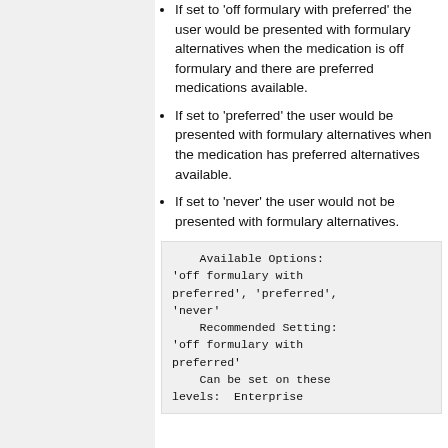If set to 'off formulary with preferred' the user would be presented with formulary alternatives when the medication is off formulary and there are preferred medications available.
If set to 'preferred' the user would be presented with formulary alternatives when the medication has preferred alternatives available.
If set to 'never' the user would not be presented with formulary alternatives.
Available Options:
'off formulary with preferred', 'preferred', 'never'
    Recommended Setting: 'off formulary with preferred'
    Can be set on these levels:  Enterprise